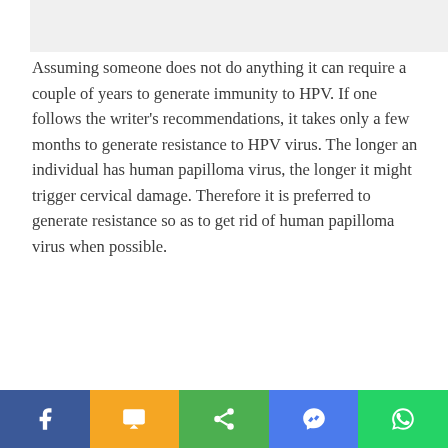Assuming someone does not do anything it can require a couple of years to generate immunity to HPV. If one follows the writer's recommendations, it takes only a few months to generate resistance to HPV virus. The longer an individual has human papilloma virus, the longer it might trigger cervical damage. Therefore it is preferred to generate resistance so as to get rid of human papilloma virus when possible.
[Figure (other): Social sharing bar at bottom with Facebook, SMS, Share, Messenger, and WhatsApp buttons]